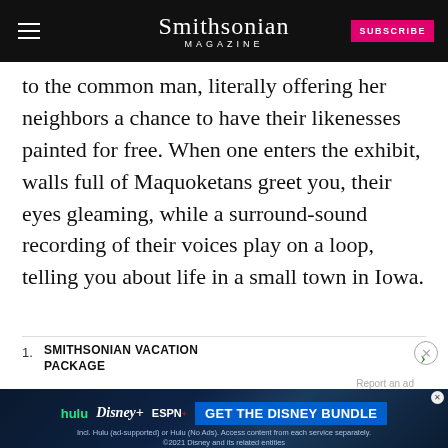Smithsonian MAGAZINE | SUBSCRIBE
to the common man, literally offering her neighbors a chance to have their likenesses painted for free. When one enters the exhibit, walls full of Maquoketans greet you, their eyes gleaming, while a surround-sound recording of their voices play on a loop, telling you about life in a small town in Iowa.
1. SMITHSONIAN VACATION PACKAGE
2. SM...
3. SUBSCRIBE SMITHSONIAN MAGAZINE